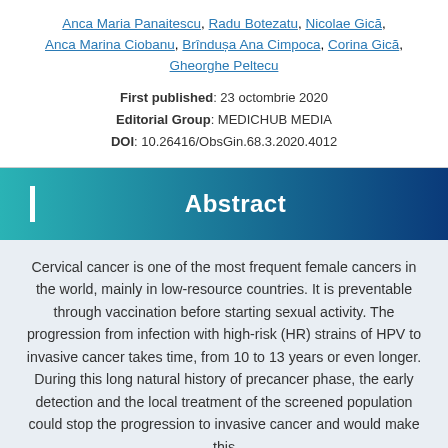Anca Maria Panaitescu, Radu Botezatu, Nicolae Gică, Anca Marina Ciobanu, Brîndușa Ana Cimpoca, Corina Gică, Gheorghe Peltecu
First published: 23 octombrie 2020
Editorial Group: MEDICHUB MEDIA
DOI: 10.26416/ObsGin.68.3.2020.4012
Abstract
Cervical cancer is one of the most frequent female cancers in the world, mainly in low-resource countries. It is preventable through vaccination before starting sexual activity. The progression from infection with high-risk (HR) strains of HPV to invasive cancer takes time, from 10 to 13 years or even longer. During this long natural history of precancer phase, the early detection and the local treatment of the screened population could stop the progression to invasive cancer and would make this